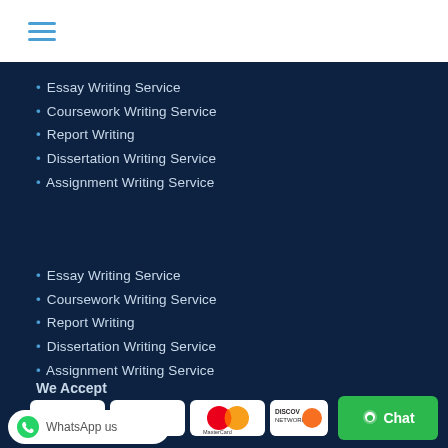[Figure (logo): Hamburger menu icon with three horizontal blue lines]
• Essay Writing Service
• Coursework Writing Service
• Report Writing
• Dissertation Writing Service
• Assignment Writing Service
• Essay Writing Service
• Coursework Writing Service
• Report Writing
• Dissertation Writing Service
• Assignment Writing Service
We Accept
[Figure (infographic): Payment method logos: PayPal, VISA, MasterCard, Discover Network, and a green Chat button, plus a WhatsApp us button]